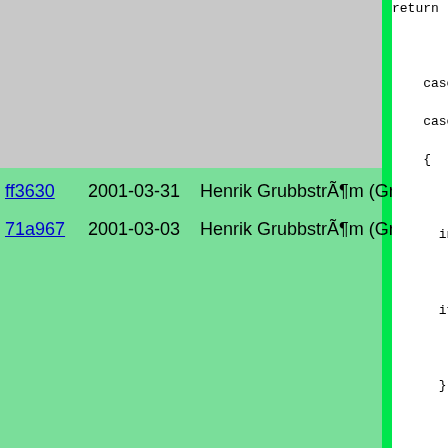ff3630  2001-03-31  Henrik GrubbstrÃ¶m (Grubba)    int
71a967  2001-03-03  Henrik GrubbstrÃ¶m (Grubba)
return

case '
case '
{

    int

    if(a
        a
    } el
        a
    }
    goto
    }
}

switch(b
{
case T_A
    /* OK,
    ret =
    if(!re
    b = b-
    goto r

case T_O
    /* OK
    ret=lo
    if (re
    b = b-